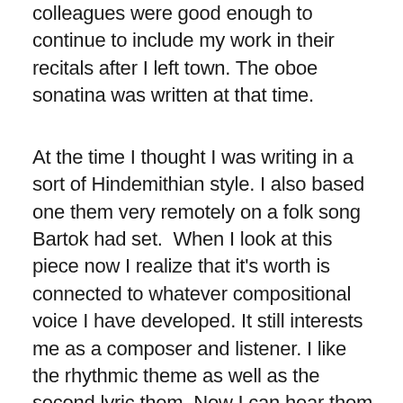colleagues were good enough to continue to include my work in their recitals after I left town. The oboe sonatina was written at that time.
At the time I thought I was writing in a sort of Hindemithian style. I also based one them very remotely on a folk song Bartok had set.  When I look at this piece now I realize that it’s worth is connected to whatever compositional voice I have developed. It still interests me as a composer and listener. I like the rhythmic theme as well as the second lyric them. Now I can hear them a bit more clearly as the sort of new consonant music they are.